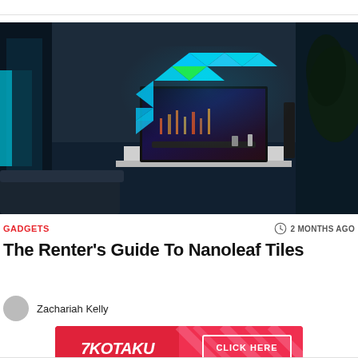[Figure (photo): A dark living room with Nanoleaf light tiles arranged in a zigzag pattern on the wall behind a flat-screen TV showing a game. A tall speaker stands to the right, a couch is in the foreground, and a plant is in the far right.]
GADGETS
2 MONTHS AGO
The Renter’s Guide To Nanoleaf Tiles
Zachariah Kelly
[Figure (advertisement): Kotaku branded advertisement banner with red/pink background showing Kotaku logo on left and a 'CLICK HERE' button on right with diagonal stripe pattern.]